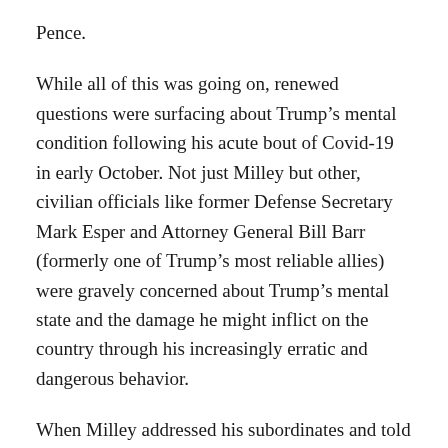Pence.
While all of this was going on, renewed questions were surfacing about Trump’s mental condition following his acute bout of Covid-19 in early October. Not just Milley but other, civilian officials like former Defense Secretary Mark Esper and Attorney General Bill Barr (formerly one of Trump’s most reliable allies) were gravely concerned about Trump’s mental state and the damage he might inflict on the country through his increasingly erratic and dangerous behavior.
When Milley addressed his subordinates and told them to keep him in the loop if they received orders to start a war, it was just two days after the failed insurrection on January 6th. Trump, whose rhetoric had already led to the first non-peaceful transfer of power in American